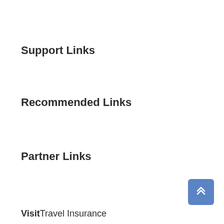Support Links
Recommended Links
Partner Links
Visit Travel Insurance